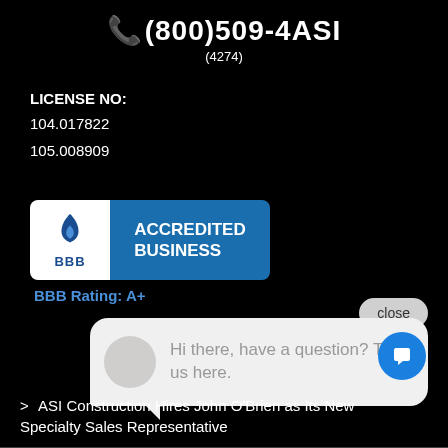📞(800)509-4ASI (4274)
LICENSE NO:
104.017822
105.008909
[Figure (logo): BBB Accredited Business logo with blue badge]
BBB Rating: A+
close
Hi there, have a question? Text us here.
> ASI Construction Hires John O'Brien as Its New Specialty Sales Representative